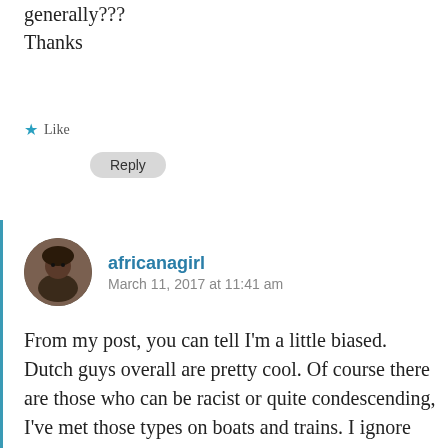Are they accepting of black african women mean generally???
Thanks
★ Like
Reply
africanagirl
March 11, 2017 at 11:41 am
From my post, you can tell I'm a little biased. Dutch guys overall are pretty cool. Of course there are those who can be racist or quite condescending, I've met those types on boats and trains. I ignore them.
Just be your own person, I don't think it would be wise to change things you do to accommodate a guy. If you love heels, don't get rid of them. All